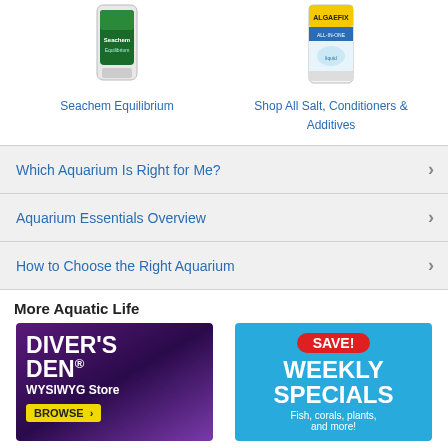[Figure (photo): Seachem Equilibrium product bottle]
Seachem Equilibrium
[Figure (photo): ALGAEFIX product bottle]
Shop All Salt, Conditioners & Additives
Which Aquarium Is Right for Me?
Aquarium Essentials Overview
How to Choose the Right Aquarium
More Aquatic Life
[Figure (illustration): Diver's Den WYSIWYG Store banner with BROWSE button]
[Figure (illustration): SAVE! Weekly Specials banner - Fish, corals, plants, and more!]